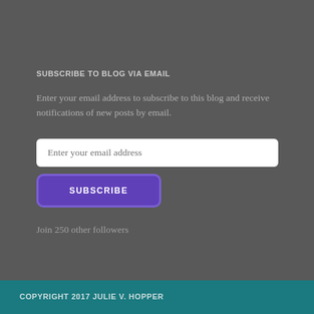SUBSCRIBE TO BLOG VIA EMAIL
Enter your email address to subscribe to this blog and receive notifications of new posts by email.
[Figure (screenshot): Email input field with placeholder text 'Enter your email address']
[Figure (screenshot): Purple SUBSCRIBE button with rounded corners and blue border]
Join 250 other followers
COPYRIGHT 2017 JULIE V. HOPPER